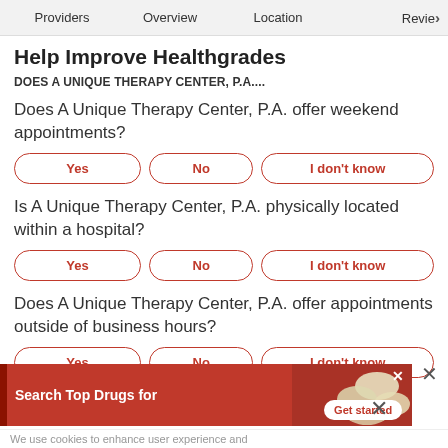Providers   Overview   Location   Revie>
Help Improve Healthgrades
DOES A UNIQUE THERAPY CENTER, P.A....
Does A Unique Therapy Center, P.A. offer weekend appointments?
Yes   No   I don't know
Is A Unique Therapy Center, P.A. physically located within a hospital?
Yes   No   I don't know
Does A Unique Therapy Center, P.A. offer appointments outside of business hours?
Yes   No   I don't know
Does A Unique Therapy Center, P.A. accept walk-in appointments?
[Figure (screenshot): Advertisement banner: Search Top Drugs for, with pill image and Get started button]
We use cookies to enhance user experience and